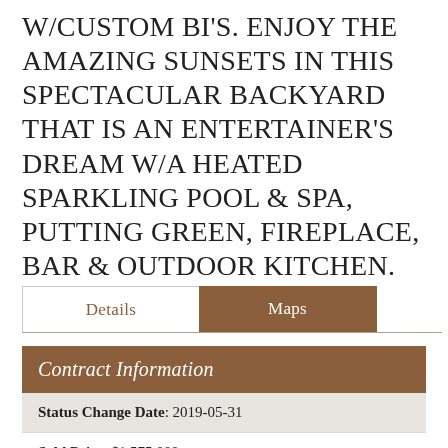W/CUSTOM BI'S. ENJOY THE AMAZING SUNSETS IN THIS SPECTACULAR BACKYARD THAT IS AN ENTERTAINER'S DREAM W/A HEATED SPARKLING POOL & SPA, PUTTING GREEN, FIREPLACE, BAR & OUTDOOR KITCHEN.
| Contract Information |
| --- |
| Status Change Date: 2019-05-31 |
| Sold Price: $1,575,000 |
| Status: Closed |
| Current Price: $1,575,000 |